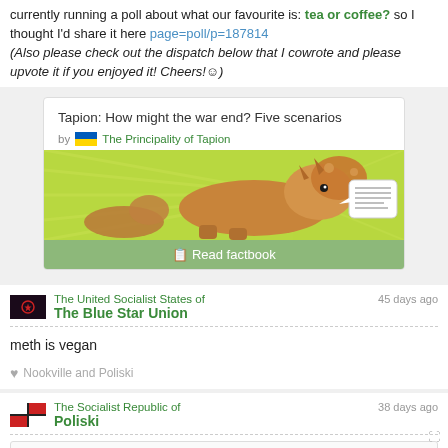currently running a poll about what our favourite is: tea or coffee? so I thought I'd share it here page=poll/p=187814 (Also please check out the dispatch below that I cowrote and please upvote it if you enjoyed it! Cheers!☺)
[Figure (screenshot): Factbook card titled 'Tapion: How might the war end? Five scenarios' by The Principality of Tapion, showing a dinosaur/triceratops illustration with a green 'Read factbook' button]
The United Socialist States of The Blue Star Union — 45 days ago
meth is vegan
♥ Nookville and Poliski
The Socialist Republic of Poliski — 38 days ago
The Blue Star Union wrote: